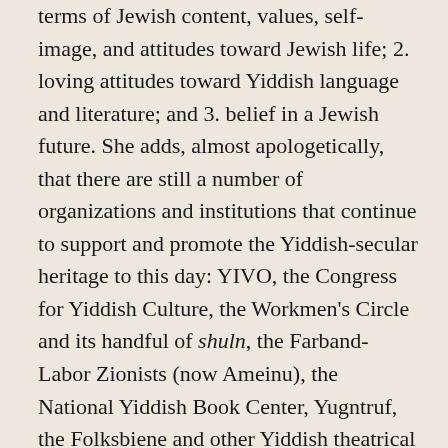terms of Jewish content, values, self-image, and attitudes toward Jewish life; 2. loving attitudes toward Yiddish language and literature; and 3. belief in a Jewish future. She adds, almost apologetically, that there are still a number of organizations and institutions that continue to support and promote the Yiddish-secular heritage to this day: YIVO, the Congress for Yiddish Culture, the Workmen's Circle and its handful of shuln, the Farband-Labor Zionists (now Ameinu), the National Yiddish Book Center, Yugntruf, the Folksbiene and other Yiddish theatrical groups, KlezCamp, the Mendele website, Yiddish newspapers and magazines including the Forverts, the Zukunft, the Pakn-Treger, Yugntruf, and others, and Yiddish studies departments in many colleges and